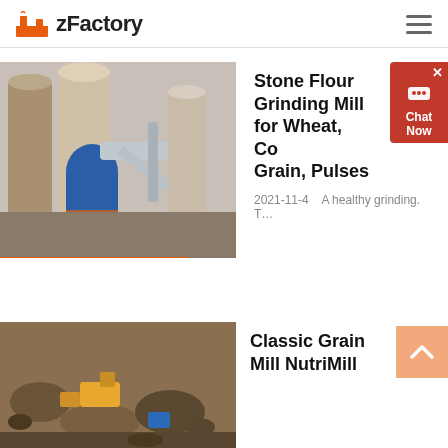zFactory
[Figure (photo): Industrial milling/grinding facility with large metal silos, pipes, and blue cylindrical machinery]
Stone Flour Grinding Mill for Wheat, Corn, Grain, Pulses
2021-11-4   A healthy grinding. T…
Read More
[Figure (photo): Ground-level outdoor scene with soil/dirt, rocks, and industrial equipment]
Classic Grain Mill NutriMill